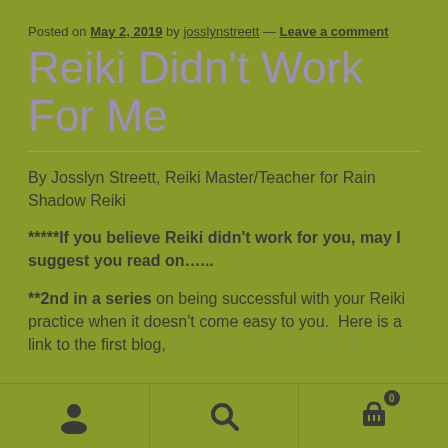Posted on May 2, 2019 by josslynstreett — Leave a comment
Reiki Didn't Work For Me
By Josslyn Streett, Reiki Master/Teacher for Rain Shadow Reiki
*****If you believe Reiki didn't work for you, may I suggest you read on…..
**2nd in a series on being successful with your Reiki practice when it doesn't come easy to you.  Here is a link to the first blog, Signs that your Reiki Really is ON.
[user icon] [search icon] [cart icon with badge 0]